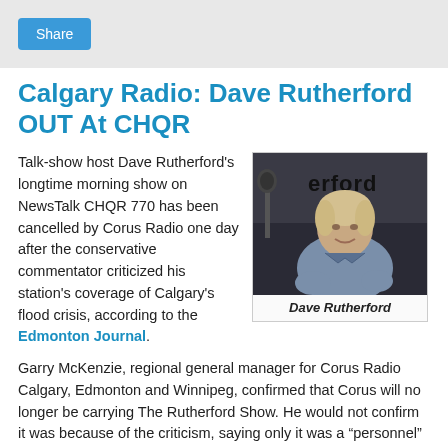Share
Calgary Radio: Dave Rutherford OUT At CHQR
Talk-show host Dave Rutherford's longtime morning show on NewsTalk CHQR 770 has been cancelled by Corus Radio one day after the conservative commentator criticized his station's coverage of Calgary's flood crisis, according to the Edmonton Journal.
[Figure (photo): Photo of Dave Rutherford seated in a radio studio in front of a microphone]
Dave Rutherford
Garry McKenzie, regional general manager for Corus Radio Calgary, Edmonton and Winnipeg, confirmed that Corus will no longer be carrying The Rutherford Show. He would not confirm it was because of the criticism, saying only it was a "personnel" matter and due